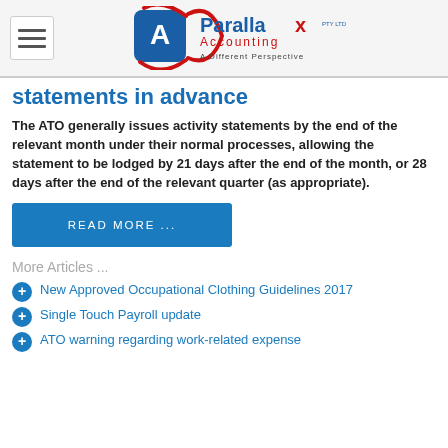Parallax Accounting Pty Ltd - A Different Perspective
statements in advance
The ATO generally issues activity statements by the end of the relevant month under their normal processes, allowing the statement to be lodged by 21 days after the end of the month, or 28 days after the end of the relevant quarter (as appropriate).
READ MORE ...
More Articles ...
New Approved Occupational Clothing Guidelines 2017
Single Touch Payroll update
ATO warning regarding work-related expense